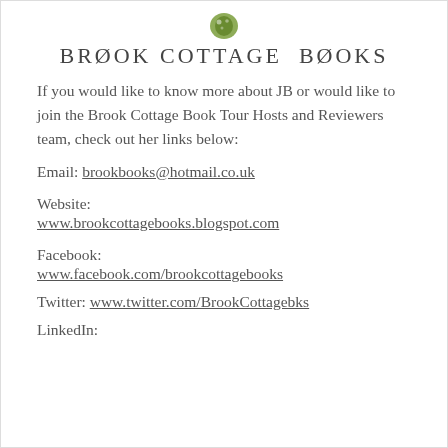[Figure (logo): Brook Cottage Books logo with green leaf/floral icon above the text]
If you would like to know more about JB or would like to join the Brook Cottage Book Tour Hosts and Reviewers team, check out her links below:
Email: brookbooks@hotmail.co.uk
Website:
www.brookcottagebooks.blogspot.com
Facebook:
www.facebook.com/brookcottagebooks
Twitter: www.twitter.com/BrookCottagebks
LinkedIn: